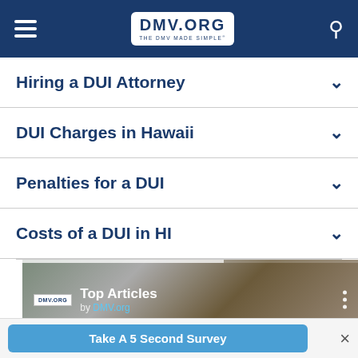DMV.ORG - THE DMV MADE SIMPLE
Hiring a DUI Attorney
DUI Charges in Hawaii
Penalties for a DUI
Costs of a DUI in HI
[Figure (screenshot): Advertisement banner with DMV.ORG logo, Top Articles text, by DMV.org link, and a close button overlay]
Take A 5 Second Survey